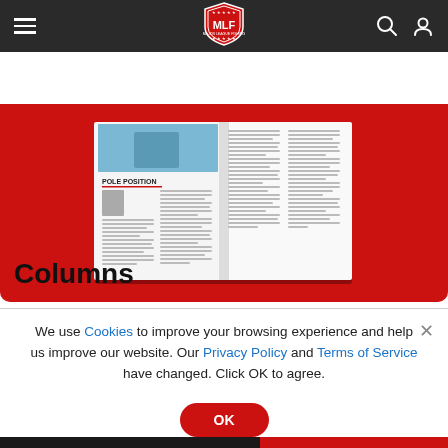MLF Major League Fishing navigation bar with hamburger menu, MLF shield logo, search and user icons
[Figure (photo): Red background hero section showing an open fishing magazine spread with article titled POLE POSITION, multi-column layout with a portrait photo of an angler]
Columns
We use Cookies to improve your browsing experience and help us improve our website. Our Privacy Policy and Terms of Service have changed. Click OK to agree.
[Figure (photo): General Tire advertisement banner reading DELIVERS and FOR LURING THEM with a truck and people outdoors]